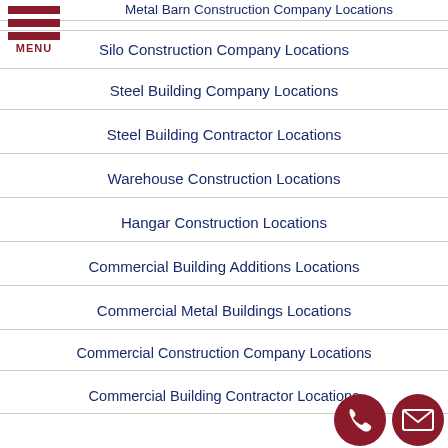Metal Barn Construction Company Locations
Silo Construction Company Locations
Steel Building Company Locations
Steel Building Contractor Locations
Warehouse Construction Locations
Hangar Construction Locations
Commercial Building Additions Locations
Commercial Metal Buildings Locations
Commercial Construction Company Locations
Commercial Building Contractor Locations
Commercial Builders Locations
Commercial Build-Outs Locations
Commercial General Contractor Loca...